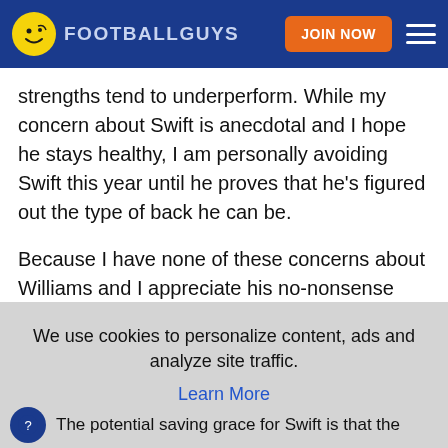FOOTBALLGUYS | JOIN NOW
strengths tend to underperform. While my concern about Swift is anecdotal and I hope he stays healthy, I am personally avoiding Swift this year until he proves that he's figured out the type of back he can be.
Because I have none of these concerns about Williams and I appreciate his no-nonsense style
We use cookies to personalize content, ads and analyze site traffic.
Learn More
OKAY
The potential saving grace for Swift is that the